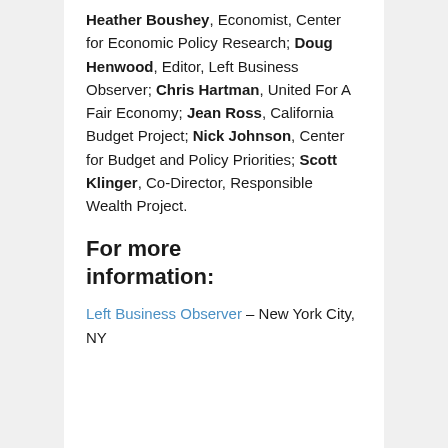Heather Boushey, Economist, Center for Economic Policy Research; Doug Henwood, Editor, Left Business Observer; Chris Hartman, United For A Fair Economy; Jean Ross, California Budget Project; Nick Johnson, Center for Budget and Policy Priorities; Scott Klinger, Co-Director, Responsible Wealth Project.
For more information:
Left Business Observer – New York City, NY